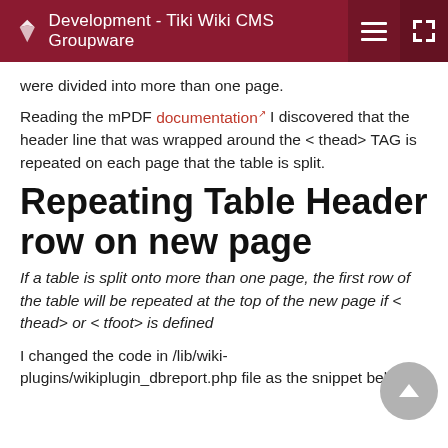Development - Tiki Wiki CMS Groupware
were divided into more than one page.
Reading the mPDF documentation I discovered that the header line that was wrapped around the < thead> TAG is repeated on each page that the table is split.
Repeating Table Header row on new page
If a table is split onto more than one page, the first row of the table will be repeated at the top of the new page if < thead> or < tfoot> is defined
I changed the code in /lib/wiki-plugins/wikiplugin_dbreport.php file as the snippet below: